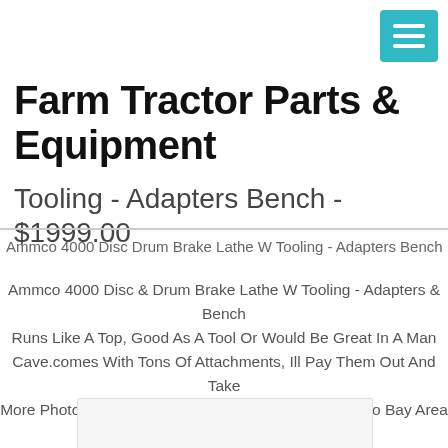[Figure (screenshot): Teal/cyan hamburger menu button in top right corner]
Farm Tractor Parts & Equipment
Tooling - Adapters Bench - $1999.00
Ammco 4000 Disc Drum Brake Lathe W Tooling - Adapters Bench
Ammco 4000 Disc & Drum Brake Lathe W Tooling - Adapters & Bench Runs Like A Top, Good As A Tool Or Would Be Great In A Man Cave.comes With Tons Of Attachments, Ill Pay Them Out And Take More Photos In A Minute Delivery In The San Francisco Bay Area May Be Available, I Dont Have The Means Or Ability To Ship This.pickup Is Best.item Is Located In Scotts Valley
[Figure (photo): Partially visible product image at bottom of page]